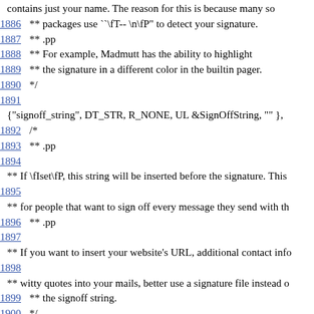contains just your name. The reason for this is because many so
1886    ** packages use ``\fT-- \n\fP" to detect your signature.
1887    ** .pp
1888    ** For example, Madmutt has the ability to highlight
1889    ** the signature in a different color in the builtin pager.
1890    */
1891
{"signoff_string", DT_STR, R_NONE, UL &SignOffString, "" },
1892    /*
1893    ** .pp
1894
** If \fIset\fP, this string will be inserted before the signature. This
1895
** for people that want to sign off every message they send with th
1896    ** .pp
1897
** If you want to insert your website's URL, additional contact info
1898
** witty quotes into your mails, better use a signature file instead o
1899    ** the signoff string.
1900    */
1901
{"simple_search", DT_STR, R_NONE, UL &SimpleSearch, "~f %s
1902    /*
1903    ** .pp
1904